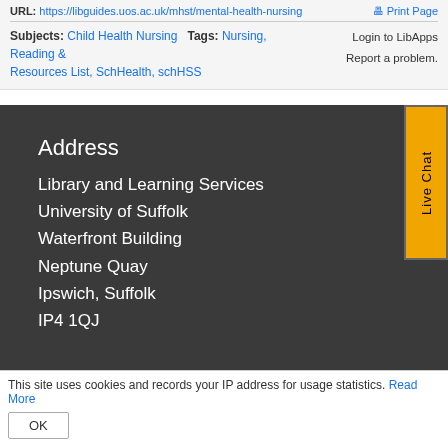URL: https://libguides.uos.ac.uk/mhst/mental-health-nursing | Print Page
Login to LibApps
Report a problem.
Subjects: Child Health Nursing  Tags: Nursing, Reading & Resources List, SchHealth, schHSS
Address
Library and Learning Services
University of Suffolk
Waterfront Building
Neptune Quay
Ipswich, Suffolk
IP4 1QJ
[Figure (other): Live Chat button - vertical yellow button on right side]
This site uses cookies and records your IP address for usage statistics. Read More
OK